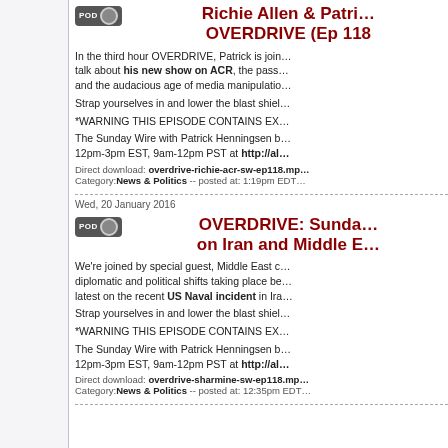Richie Allen & Patrick OVERDRIVE (Ep 118)
In the third hour OVERDRIVE, Patrick is joined to talk about his new show on ACR, the passionate and the audacious age of media manipulation.
Strap yourselves in and lower the blast shields.
*WARNING THIS EPISODE CONTAINS EX...
The Sunday Wire with Patrick Henningsen broadcasts 12pm-3pm EST, 9am-12pm PST at http://al...
Direct download: overdrive-richie-acr-sw-ep118.mp... Category:News & Politics -- posted at: 1:19pm EDT
Wed, 20 January 2016
OVERDRIVE: Sunday Wire on Iran and Middle E...
We're joined by special guest, Middle East expert on diplomatic and political shifts taking place be... latest on the recent US Naval incident in Ira...
Strap yourselves in and lower the blast shields.
*WARNING THIS EPISODE CONTAINS EX...
The Sunday Wire with Patrick Henningsen b... 12pm-3pm EST, 9am-12pm PST at http://al...
Direct download: overdrive-sharmine-sw-ep118.mp... Category:News & Politics -- posted at: 12:35pm EDT